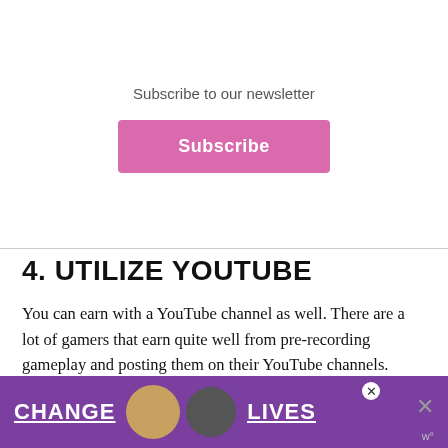Subscribe to our newsletter
Subscribe
4. UTILIZE YOUTUBE
You can earn with a YouTube channel as well. There are a lot of gamers that earn quite well from pre-recording gameplay and posting them on their YouTube channels. Creating a YouTube channel can also help to boost your Twitch account, as your subscribers on YouTube can get to know who you are before they decide on subscribing to your Twitch channel.
[Figure (infographic): Purple advertisement banner with text 'CHANGE LIVES' and two cats, with close buttons]